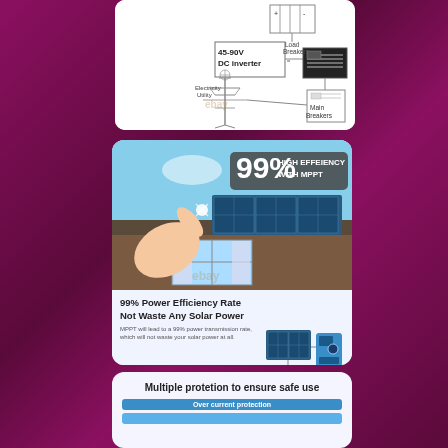[Figure (schematic): Electrical schematic diagram showing 45-90V DC inverter connected to Load Breakers, Electricity Utility, and Main Breakers]
[Figure (photo): Solar panels on rooftop with hand pointing, badge reading 99% HIGH EFFEIENCY WITH MPPT]
99% Power Efficiency Rate
Not Waste Any Solar Power
MPPT will lead to a 99% power transmission rate, which will not waste your solar power at all.
[Figure (infographic): Solar panel and inverter product image]
Multiple protetion to ensure safe use
Over current protection